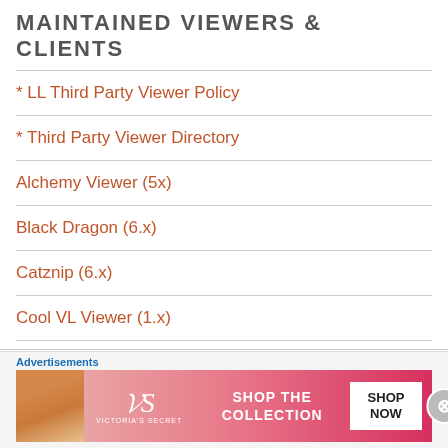MAINTAINED VIEWERS & CLIENTS
* LL Third Party Viewer Policy
* Third Party Viewer Directory
Alchemy Viewer (5x)
Black Dragon (6.x)
Catznip (6.x)
Cool VL Viewer (1.x)
Firestorm (6.x)
Group Tools
Kirsten's Viewer
[Figure (infographic): Victoria's Secret advertisement banner with model photo, VS logo, 'Shop The Collection' text, and 'Shop Now' button]
Advertisements